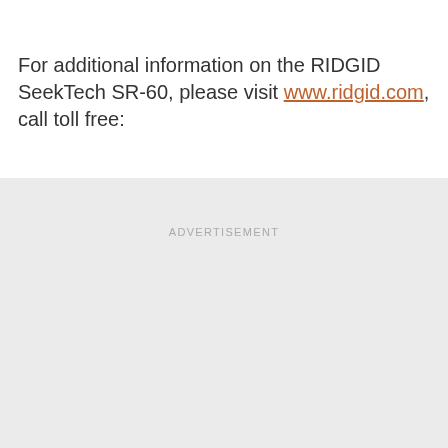For additional information on the RIDGID SeekTech SR-60, please visit www.ridgid.com, call toll free:
[Figure (other): Advertisement placeholder block with light gray background and 'ADVERTISEMENT' label text centered near the top]